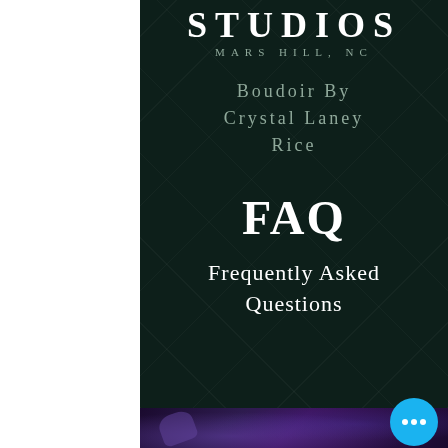STUDIOS
MARS HILL, NC
Boudoir by Crystal Laney Rice
FAQ
Frequently Asked Questions
[Figure (photo): Dark background photo showing a microphone with purple/blue lighting at the bottom of the page]
[Figure (other): Cyan/blue circular chat button with three dots]